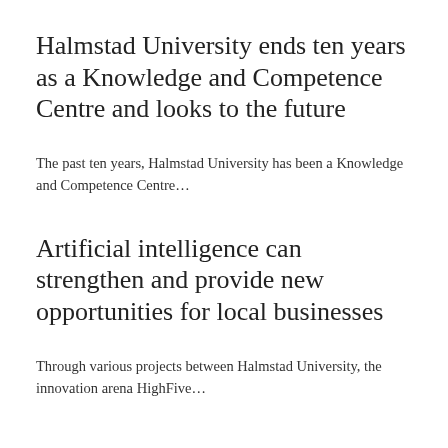Halmstad University ends ten years as a Knowledge and Competence Centre and looks to the future
The past ten years, Halmstad University has been a Knowledge and Competence Centre…
Artificial intelligence can strengthen and provide new opportunities for local businesses
Through various projects between Halmstad University, the innovation arena HighFive…